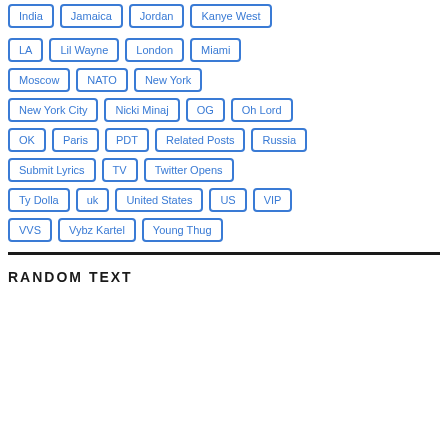India
Jamaica
Jordan
Kanye West
LA
Lil Wayne
London
Miami
Moscow
NATO
New York
New York City
Nicki Minaj
OG
Oh Lord
OK
Paris
PDT
Related Posts
Russia
Submit Lyrics
TV
Twitter Opens
Ty Dolla
uk
United States
US
VIP
VVS
Vybz Kartel
Young Thug
RANDOM TEXT